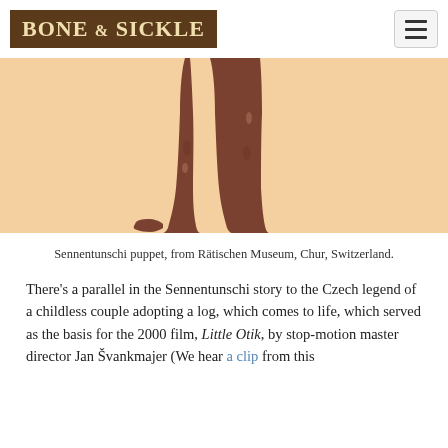BONE & SICKLE
[Figure (photo): Sennentunschi puppet legs — dark wooden or carved legs with feet, displayed against a peach/salmon background, from Rätischen Museum, Chur, Switzerland.]
Sennentunschi puppet, from Rätischen Museum, Chur, Switzerland.
There's a parallel in the Sennentunschi story to the Czech legend of a childless couple adopting a log, which comes to life, which served as the basis for the 2000 film, Little Otik, by stop-motion master director Jan Švankmajer (We hear a clip from this [continues]